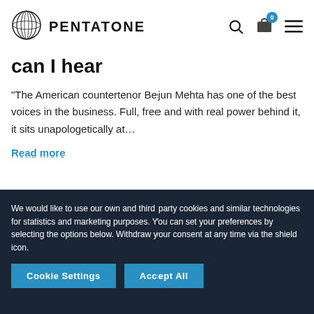[Figure (logo): Pentatone logo with circular geometric icon and PENTATONE wordmark]
can I hear
“The American countertenor Bejun Mehta has one of the best voices in the business. Full, free and with real power behind it, it sits unapologetically at…
Read more
We would like to use our own and third party cookies and similar technologies for statistics and marketing purposes. You can set your preferences by selecting the options below. Withdraw your consent at any time via the shield icon.